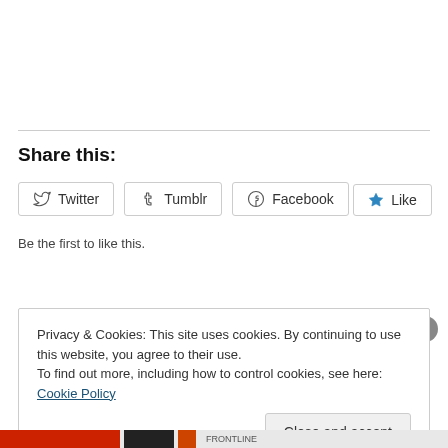Share this:
[Figure (other): Social share buttons: Twitter, Tumblr, Facebook]
[Figure (other): Like button with star icon]
Be the first to like this.
Privacy & Cookies: This site uses cookies. By continuing to use this website, you agree to their use. To find out more, including how to control cookies, see here: Cookie Policy
Close and accept